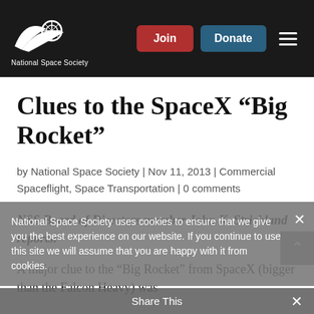National Space Society — Join | Donate | Menu
Clues to the SpaceX “Big Rocket”
by National Space Society | Nov 11, 2013 | Commercial Spaceflight, Space Transportation | 0 comments
NSS Board of Directors member John K. Strickland reports:
A major clue to the “Big Rocket” from SpaceX (bigger than the Falcon Heavy) was
National Space Society uses cookies to ensure that we give you the best experience on our website. If you continue to use this site we will assume that you are happy with it from cookies.
Share This